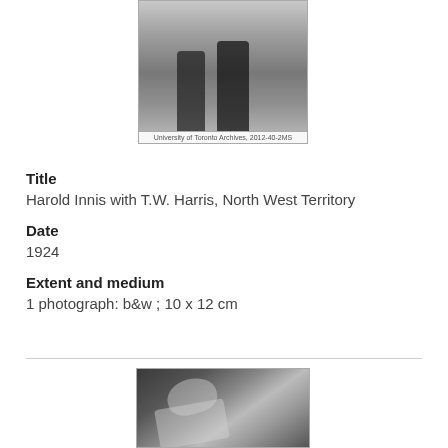[Figure (photo): Black and white photograph of two people standing outdoors, cropped at legs/torso. Caption reads: University of Toronto Archives, 2012-40-2MS]
University of Toronto Archives, 2012-40-2MS
Title
Harold Innis with T.W. Harris, North West Territory
Date
1924
Extent and medium
1 photograph: b&w ; 10 x 12 cm
[Figure (photo): Black and white photograph of a man looking through or working at a microscope or optical device, wearing a white coat.]